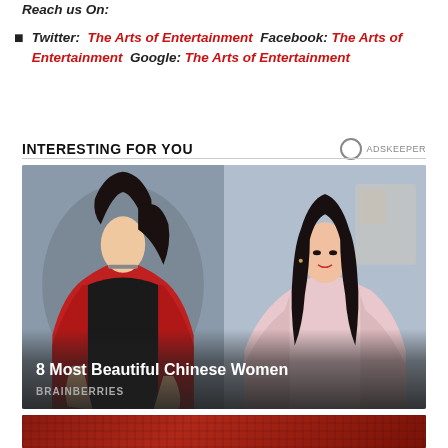Reach us On:
Twitter: The Arts of Entertainment Facebook: The Arts of Entertainment Google: The Arts of Entertainment
INTERESTING FOR YOU
[Figure (photo): Two young Chinese women side by side. Left: woman in red jacket with off-shoulder black top. Right: woman in pink sweater with wavy dark hair. Dark overlay at bottom with text '8 Most Beautiful Chinese Women' and 'BRAINBERRIES'.]
[Figure (photo): Partial view of a person wearing a dark red/maroon knitted sweater, cropped at bottom of page.]